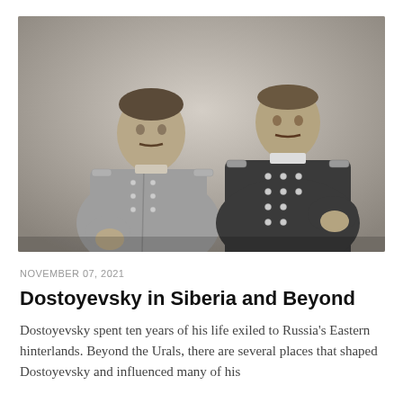[Figure (photo): Black and white historical photograph of two men in 19th-century Russian military uniforms, seated, facing the camera. The man on the left wears a lighter coat with epaulettes and buttons; the man on the right wears a darker double-breasted uniform with many buttons.]
NOVEMBER 07, 2021
Dostoyevsky in Siberia and Beyond
Dostoyevsky spent ten years of his life exiled to Russia's Eastern hinterlands. Beyond the Urals, there are several places that shaped Dostoyevsky and influenced many of his